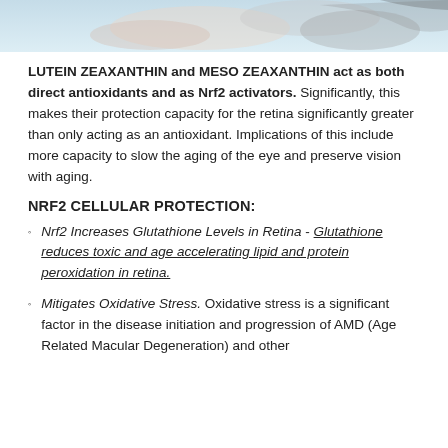[Figure (photo): Partial view of a medical or clinical photo, cropped at the top of the page, showing a blurred scene with a stethoscope and hands.]
LUTEIN ZEAXANTHIN and MESO ZEAXANTHIN act as both direct antioxidants and as Nrf2 activators. Significantly, this makes their protection capacity for the retina significantly greater than only acting as an antioxidant. Implications of this include more capacity to slow the aging of the eye and preserve vision with aging.
NRF2 CELLULAR PROTECTION:
Nrf2 Increases Glutathione Levels in Retina - Glutathione reduces toxic and age accelerating lipid and protein peroxidation in retina.
Mitigates Oxidative Stress. Oxidative stress is a significant factor in the disease initiation and progression of AMD (Age Related Macular Degeneration) and other